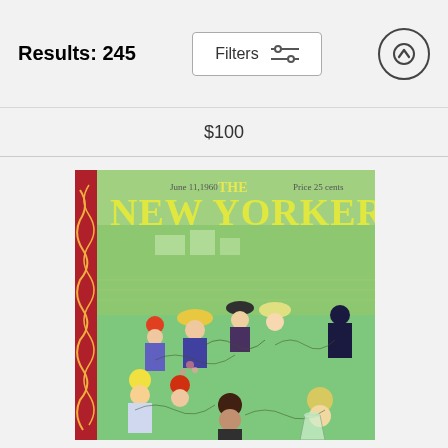Results: 245
Filters
$100
[Figure (illustration): The New Yorker magazine cover dated June 11, 1960, Price 25 cents. Shows a lively crowd scene at what appears to be a garden party or race day event, with people in colorful summer attire, women in hats, illustrated in a loose sketchy style with green background.]